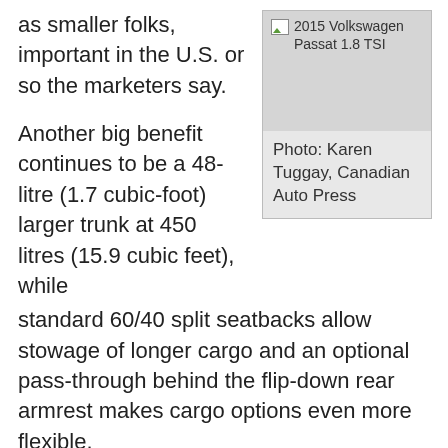as smaller folks, important in the U.S. or so the marketers say.
[Figure (photo): 2015 Volkswagen Passat 1.8 TSI — placeholder image box with caption 'Photo: Karen Tuggay, Canadian Auto Press']
Another big benefit continues to be a 48-litre (1.7 cubic-foot) larger trunk at 450 litres (15.9 cubic feet), while standard 60/40 split seatbacks allow stowage of longer cargo and an optional pass-through behind the flip-down rear armrest makes cargo options even more flexible.
Extra size is good, but what about weight? Oddly the bigger Passat lost 67 kilos (148 lbs) during its redesign due to the use of lighter materials such as aluminum and high-strength steel, the base car weighing in at